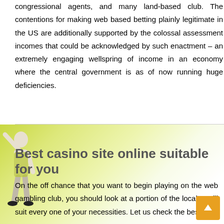congressional agents, and many land-based club. The contentions for making web based betting plainly legitimate in the US are additionally supported by the colossal assessment incomes that could be acknowledged by such enactment – an extremely engaging wellspring of income in an economy where the central government is as of now running huge deficiencies.
[Figure (photo): Person with raised arm against a yellow-green background]
Best casino site online suitable for you
On the off chance that you want to begin playing on the web gambling club, you should look at a portion of the locales will suit every one of your necessities. Let us check the best site